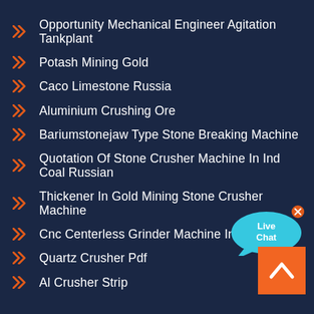Opportunity Mechanical Engineer Agitation Tankplant
Potash Mining Gold
Caco Limestone Russia
Aluminium Crushing Ore
Bariumstonejaw Type Stone Breaking Machine
Quotation Of Stone Crusher Machine In Ind Coal Russian
Thickener In Gold Mining Stone Crusher Machine
Cnc Centerless Grinder Machine In Ludhiana
Quartz Crusher Pdf
Al Crusher Strip
[Figure (infographic): Live Chat speech bubble widget in cyan/blue color with 'Live Chat' text and a close (x) button]